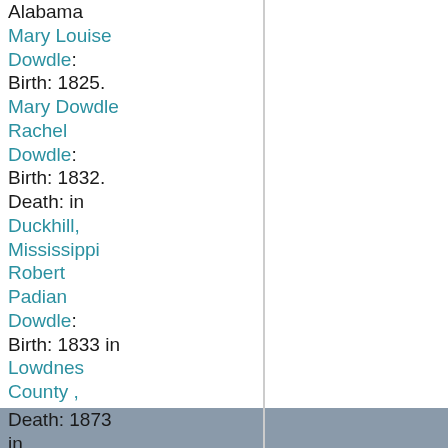Alabama
Mary Louise Dowdle: Birth: 1825.
Mary Dowdle
Rachel Dowdle: Birth: 1832. Death: in Duckhill, Mississippi
Robert Padian Dowdle: Birth: 1833 in Lowdnes County, Mississippi. Death: 1873 in